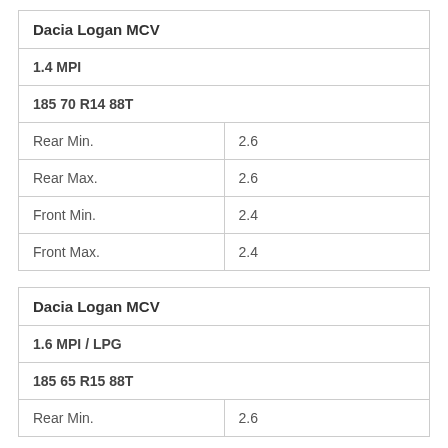| Dacia Logan MCV |  |
| --- | --- |
| 1.4 MPI |  |
| 185 70 R14 88T |  |
| Rear Min. | 2.6 |
| Rear Max. | 2.6 |
| Front Min. | 2.4 |
| Front Max. | 2.4 |
| Dacia Logan MCV |  |
| --- | --- |
| 1.6 MPI / LPG |  |
| 185 65 R15 88T |  |
| Rear Min. | 2.6 |